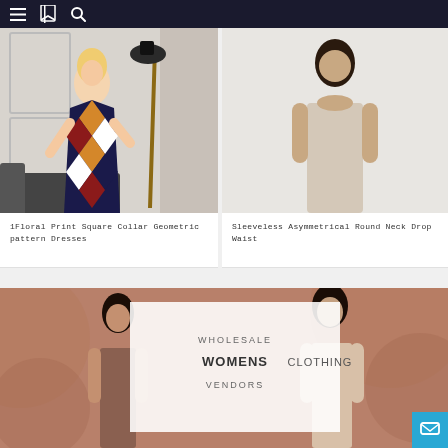Navigation bar with menu, bookmark, and search icons
[Figure (photo): Woman wearing a colorful harlequin geometric diamond-pattern dress with square collar, standing in a room with a floor lamp]
1Floral Print Square Collar Geometric pattern Dresses
[Figure (photo): Woman wearing a sleeveless asymmetrical round neck drop waist dress, light background, partial view]
Sleeveless Asymmetrical Round Neck Drop Waist
[Figure (photo): Wholesale Womens Clothing Vendors banner with two women models wearing dresses on a rose-brown background with a white overlay box showing the text]
WHOLESALE WOMENS CLOTHING VENDORS